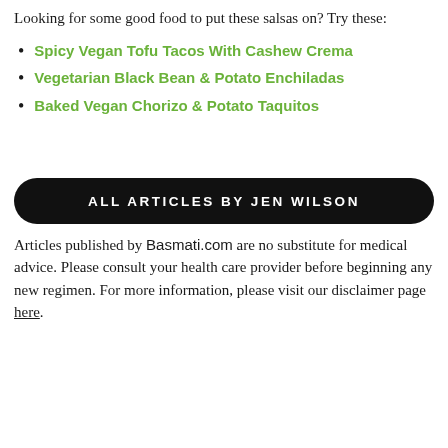Looking for some good food to put these salsas on? Try these:
Spicy Vegan Tofu Tacos With Cashew Crema
Vegetarian Black Bean & Potato Enchiladas
Baked Vegan Chorizo & Potato Taquitos
ALL ARTICLES BY JEN WILSON
Articles published by Basmati.com are no substitute for medical advice. Please consult your health care provider before beginning any new regimen. For more information, please visit our disclaimer page here.